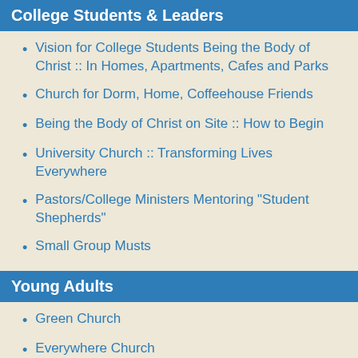College Students & Leaders
Vision for College Students Being the Body of Christ :: In Homes, Apartments, Cafes and Parks
Church for Dorm, Home, Coffeehouse Friends
Being the Body of Christ on Site :: How to Begin
University Church :: Transforming Lives Everywhere
Pastors/College Ministers Mentoring "Student Shepherds"
Small Group Musts
Young Adults
Green Church
Everywhere Church